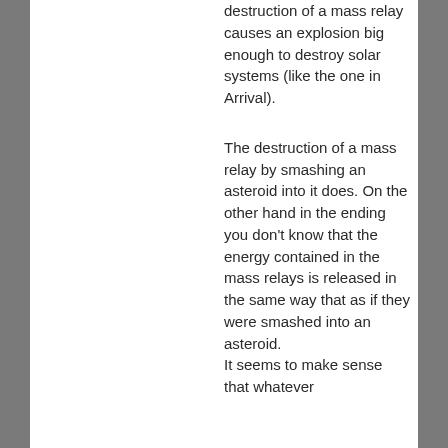destruction of a mass relay causes an explosion big enough to destroy solar systems (like the one in Arrival).
The destruction of a mass relay by smashing an asteroid into it does. On the other hand in the ending you don't know that the energy contained in the mass relays is released in the same way that as if they were smashed into an asteroid.
It seems to make sense that whatever